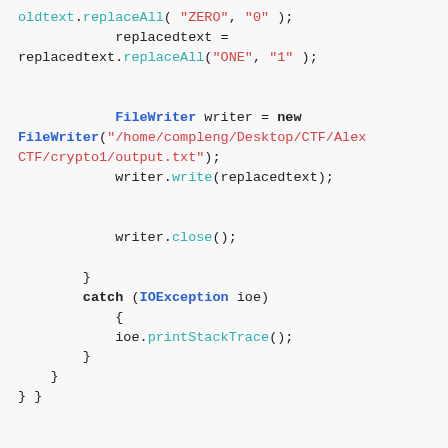oldtext.replaceAll( "ZERO", "0" );
            replacedtext =
replacedtext.replaceAll("ONE", "1" );


            FileWriter writer = new
FileWriter("/home/compleng/Desktop/CTF/AlexCTF/crypto1/output.txt");
            writer.write(replacedtext);


            writer.close();

        }
        catch (IOException ioe)
            {
            ioe.printStackTrace();
        }
    }
} }